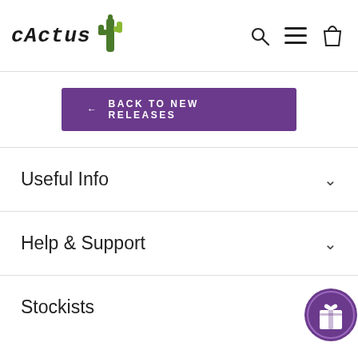CACTUS [logo with cactus icon]
← BACK TO NEW RELEASES
Useful Info
Help & Support
Stockists